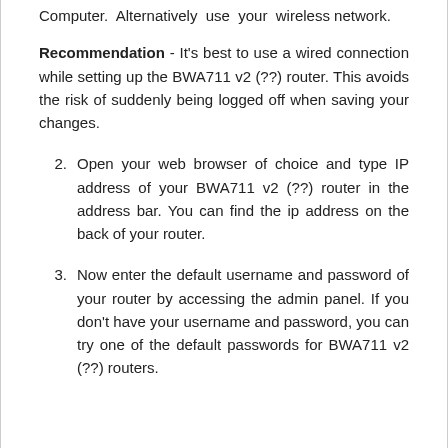Computer. Alternatively use your wireless network.
Recommendation - It's best to use a wired connection while setting up the BWA711 v2 (??) router. This avoids the risk of suddenly being logged off when saving your changes.
Open your web browser of choice and type IP address of your BWA711 v2 (??) router in the address bar. You can find the ip address on the back of your router.
Now enter the default username and password of your router by accessing the admin panel. If you don't have your username and password, you can try one of the default passwords for BWA711 v2 (??) routers.